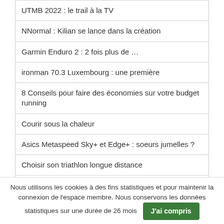UTMB 2022 : le trail à la TV
NNormal : Kilian se lance dans la création
Garmin Enduro 2 : 2 fois plus de …
ironman 70.3 Luxembourg : une première
8 Conseils pour faire des économies sur votre budget running
Courir sous la chaleur
Asics Metaspeed Sky+ et Edge+ : soeurs jumelles ?
Choisir son triathlon longue distance
Matériel obligatoire sur trail
Nous utilisons les cookies à des fins statistiques et pour maintenir la connexion de l'espace membre. Nous conservons les données statistiques sur une durée de 26 mois   J'ai compris